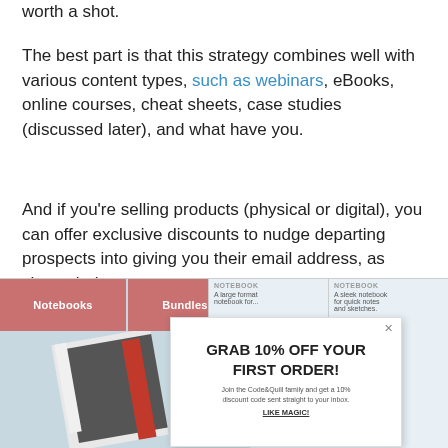worth a shot.
The best part is that this strategy combines well with various content types, such as webinars, eBooks, online courses, cheat sheets, case studies (discussed later), and what have you.
And if you’re selling products (physical or digital), you can offer exclusive discounts to nudge departing prospects into giving you their email address, as shown below.
[Figure (screenshot): Screenshot of a website (Code&Quill) showing navigation tabs for Notebooks and Bundles, product cards on the right, a notebook image on the left, and a popup overlay saying 'GRAB 10% OFF YOUR FIRST ORDER!' with subtext 'Join the Code&Quill family and get a 10% discount code sent straight to your inbox. LIKE MAGIC!']